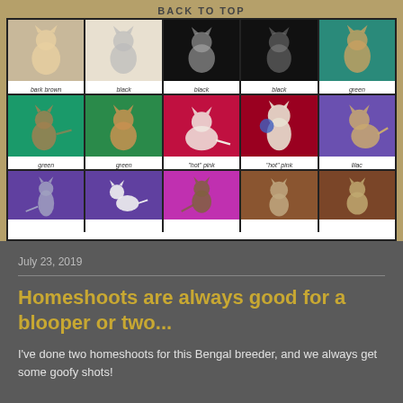BACK TO TOP
[Figure (photo): Grid of cat photos on various colored backgrounds with labels indicating background colors: bark brown, black, black, green (row 1); green, green, hot pink, hot pink, lilac (row 2); purple, purple, pink/magenta, brown, brown (row 3 partial)]
July 23, 2019
Homeshoots are always good for a blooper or two...
I've done two homeshoots for this Bengal breeder, and we always get some goofy shots!